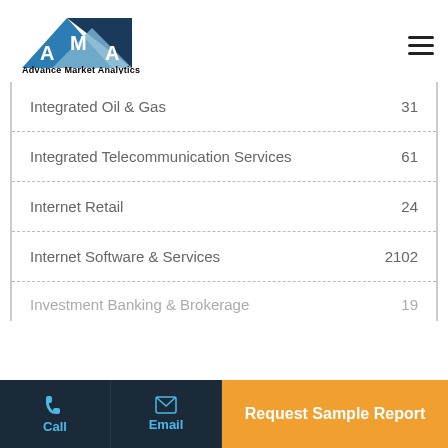[Figure (logo): Advance Market Analytics logo with blue triangles and AMA letters]
| Category | Count |
| --- | --- |
| Integrated Oil & Gas | 31 |
| Integrated Telecommunication Services | 61 |
| Internet Retail | 24 |
| Internet Software & Services | 2102 |
| Investment Banking & Brokerage | 19 |
Call | Email | Request Sample Report